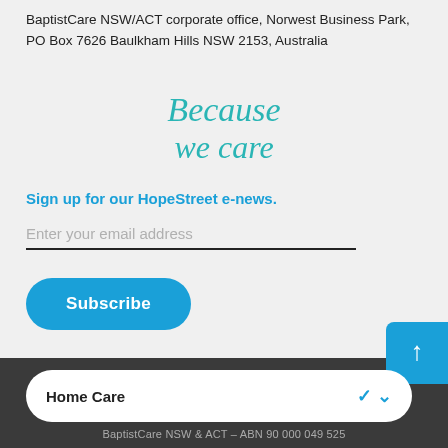BaptistCare NSW/ACT corporate office, Norwest Business Park, PO Box 7626 Baulkham Hills NSW 2153, Australia
Because we care
Sign up for our HopeStreet e-news.
Enter your email address
Subscribe
Home Care
BaptistCare NSW & ACT – ABN 90 000 049 525